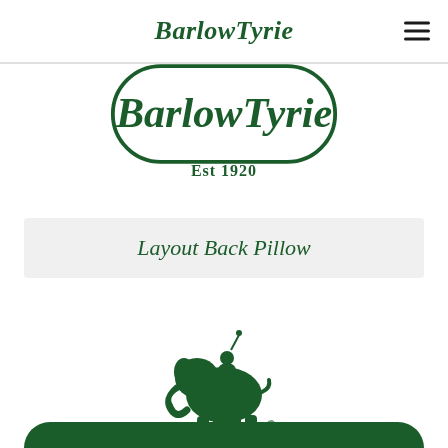BarlowTyrie
[Figure (logo): BarlowTyrie logo in dark green with oval border and 'Est 1920' below]
Layout Back Pillow
[Figure (logo): BarlowTyrie elephant mascot logo in dark green with registered trademark symbol]